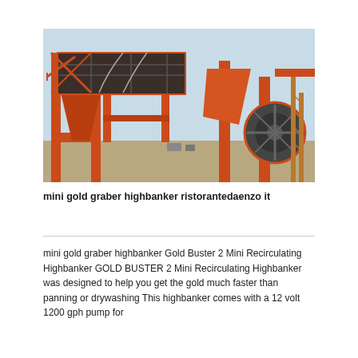[Figure (photo): Industrial mining equipment with large orange steel structures, conveyor systems, and a crusher unit against a light blue sky.]
mini gold graber highbanker ristorantedaenzo it
mini gold graber highbanker Gold Buster 2 Mini Recirculating Highbanker GOLD BUSTER 2 Mini Recirculating Highbanker was designed to help you get the gold much faster than panning or drywashing This highbanker comes with a 12 volt 1200 gph pump for